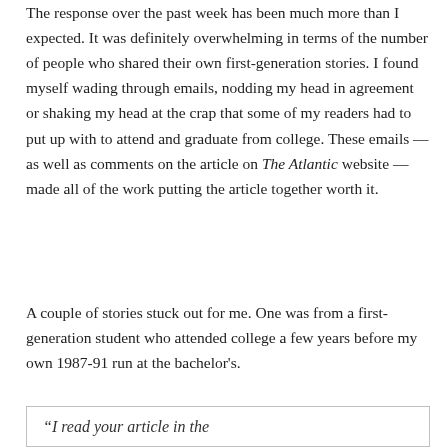The response over the past week has been much more than I expected. It was definitely overwhelming in terms of the number of people who shared their own first-generation stories. I found myself wading through emails, nodding my head in agreement or shaking my head at the crap that some of my readers had to put up with to attend and graduate from college. These emails — as well as comments on the article on The Atlantic website — made all of the work putting the article together worth it.
A couple of stories stuck out for me. One was from a first-generation student who attended college a few years before my own 1987-91 run at the bachelor's.
“I read your article in the